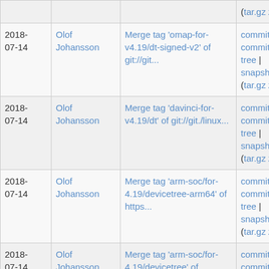| Date | Author | Message | Links |
| --- | --- | --- | --- |
| 2018-07-14 | Olof Johansson | Merge tag 'omap-for-v4.19/dt-signed-v2' of git://git... | commit | commitdiff | tree | snapshot (tar.gz zip) |
| 2018-07-14 | Olof Johansson | Merge tag 'davinci-for-v4.19/dt' of git://git./linux... | commit | commitdiff | tree | snapshot (tar.gz zip) |
| 2018-07-14 | Olof Johansson | Merge tag 'arm-soc/for-4.19/devicetree-arm64' of https... | commit | commitdiff | tree | snapshot (tar.gz zip) |
| 2018-07-14 | Olof Johansson | Merge tag 'arm-soc/for-4.19/devicetree' of https:/... | commit | commitdiff | tree | snapshot (tar.gz zip) |
| 2018-07-14 | Olof Johansson | Merge tag 'v4.19-rockchip-dtsSA.11' of git://git./linux... | commit | commitdiff |